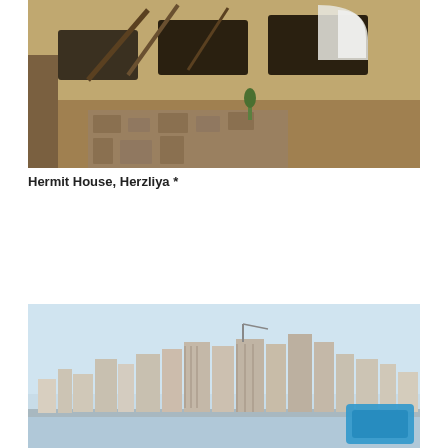[Figure (photo): Photograph of the Hermit House in Herzliya, showing a rugged stone and rock structure built into a hillside or cliff face, with dark openings, wooden beams, and a white curved arch visible, surrounded by desert-like rocky terrain.]
Hermit House, Herzliya *
[Figure (photo): Photograph of a city skyline viewed from across water, showing tall modern residential and commercial tower buildings against a pale blue sky. A blue square overlay appears in the lower-right corner of the image.]